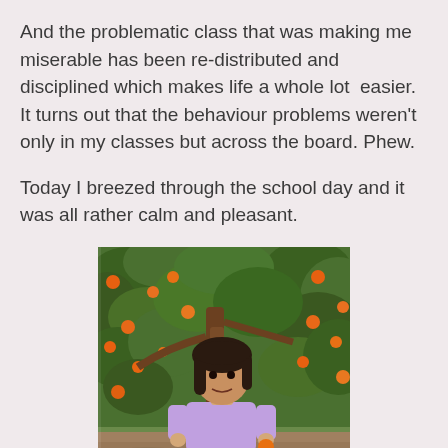And the problematic class that was making me miserable has been re-distributed and disciplined which makes life a whole lot  easier. It turns out that the behaviour problems weren't only in my classes but across the board. Phew.
Today I breezed through the school day and it was all rather calm and pleasant.
[Figure (photo): A young girl with dark hair wearing a purple long-sleeve shirt and purple striped pants, sitting among orange citrus trees laden with ripe oranges, in an orchard setting with green foliage and a tree trunk visible behind her.]